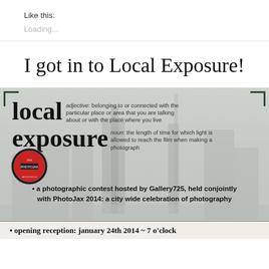Like this:
Loading...
I got in to Local Exposure!
[Figure (infographic): Local Exposure photography contest flyer. Shows dictionary-style definitions of 'local' and 'exposure', with a city skyline (Jacksonville, FL) background, PhotoJax 2014 badge, bullet point describing the photographic contest hosted by Gallery725, and an opening reception notice for January 24th, 2014 at 7 o'clock.]